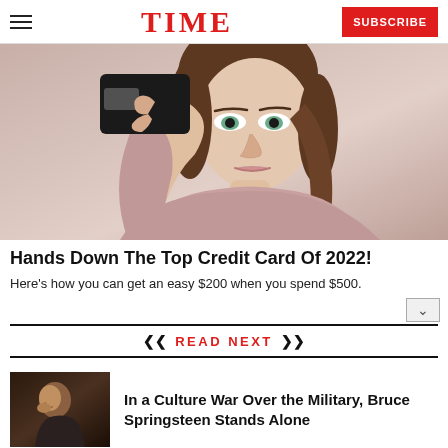TIME | SUBSCRIBE
[Figure (photo): Woman holding a black credit card, wearing a pink/mauve off-shoulder sweater, brown hair, green eyes, smiling.]
Hands Down The Top Credit Card Of 2022!
Here's how you can get an easy $200 when you spend $500.
READ NEXT
[Figure (photo): Thumbnail photo of a man (Bruce Springsteen) sitting, appearing contemplative, dark background.]
In a Culture War Over the Military, Bruce Springsteen Stands Alone